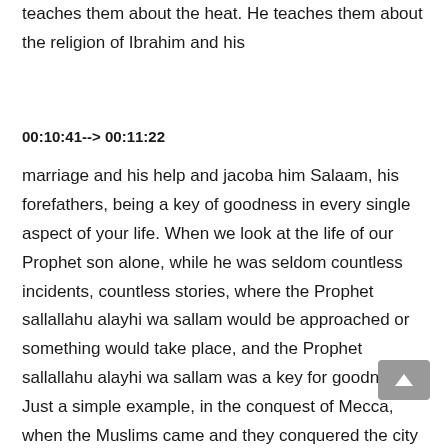teaches them about the heat. He teaches them about the religion of Ibrahim and his
00:10:41--> 00:11:22
marriage and his help and jacoba him Salaam, his forefathers, being a key of goodness in every single aspect of your life. When we look at the life of our Prophet son alone, while he was seldom countless incidents, countless stories, where the Prophet sallallahu alayhi wa sallam would be approached or something would take place, and the Prophet sallallahu alayhi wa sallam was a key for goodness. Just a simple example, in the conquest of Mecca, when the Muslims came and they conquered the city of Mecca, the vast majority of those people who were living in Mecca during the time were non Muslims. They were enemies to Islam, the likes of Abu Sufyan and his wife hin